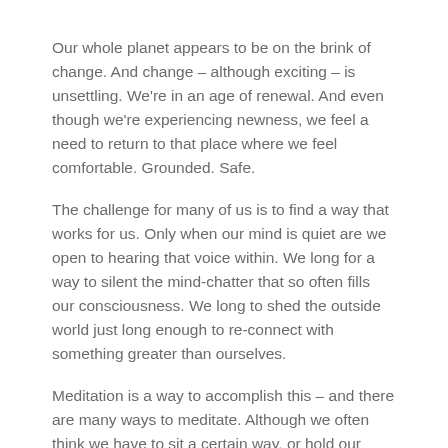Our whole planet appears to be on the brink of change. And change – although exciting – is unsettling. We're in an age of renewal. And even though we're experiencing newness, we feel a need to return to that place where we feel comfortable. Grounded. Safe.
The challenge for many of us is to find a way that works for us. Only when our mind is quiet are we open to hearing that voice within. We long for a way to silent the mind-chatter that so often fills our consciousness. We long to shed the outside world just long enough to re-connect with something greater than ourselves.
Meditation is a way to accomplish this – and there are many ways to meditate. Although we often think we have to sit a certain way, or hold our hands a certain way, or have a mantra that we recite while we're holding a certain pose, there are other options.